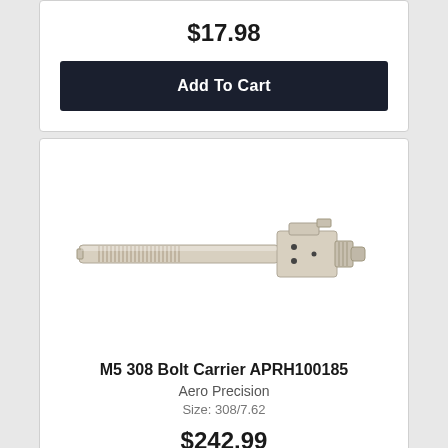$17.98
Add To Cart
[Figure (photo): Nickel-finished M5 308 bolt carrier group component, showing the cylindrical body with serrated charging surface and bolt assembly with multiple pins and a castle nut end cap.]
M5 308 Bolt Carrier APRH100185
Aero Precision
Size: 308/7.62
$242.99